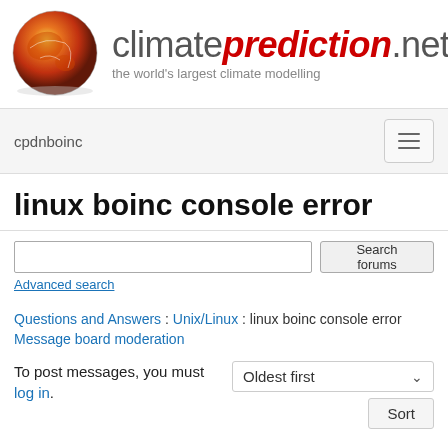[Figure (logo): climateprediction.net logo with globe image on left and site name and subtitle on right]
cpdnboinc
linux boinc console error
Search forums | Advanced search
Questions and Answers : Unix/Linux : linux boinc console error
Message board moderation
To post messages, you must log in.